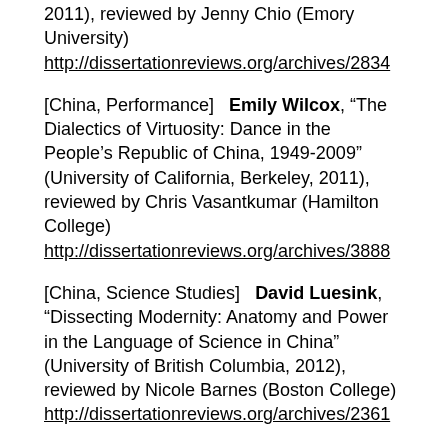2011), reviewed by Jenny Chio (Emory University) http://dissertationreviews.org/archives/2834
[China, Performance]   Emily Wilcox, "The Dialectics of Virtuosity: Dance in the People's Republic of China, 1949-2009" (University of California, Berkeley, 2011), reviewed by Chris Vasantkumar (Hamilton College) http://dissertationreviews.org/archives/3888
[China, Science Studies]   David Luesink, "Dissecting Modernity: Anatomy and Power in the Language of Science in China" (University of British Columbia, 2012), reviewed by Nicole Barnes (Boston College) http://dissertationreviews.org/archives/2361